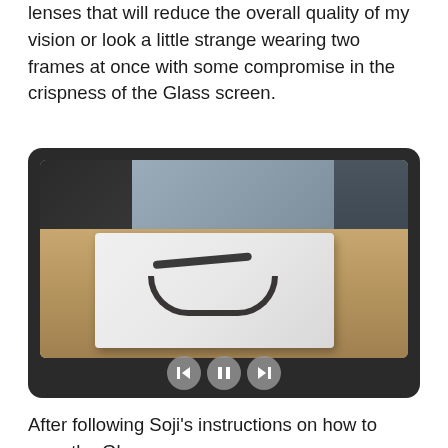lenses that will reduce the overall quality of my vision or look a little strange wearing two frames at once with some compromise in the crispness of the Glass screen.
[Figure (photo): A photograph of Google Glass device displayed in a white retail box on a wooden table surface, shown inside a dark-framed video player with playback controls (back, pause, forward) at the bottom.]
After following Soji’s instructions on how to sync the Glass